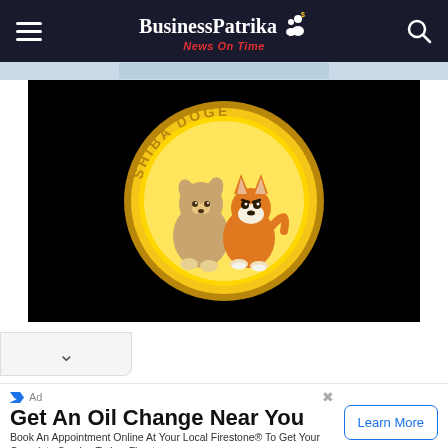BusinessPatrika News On Time
[Figure (illustration): Shiba Doge cryptocurrency coin logo on black background — gold coin with two cartoon dogs (Doge and Shiba Inu) and text 'SHIBA DOGE' around the rim]
Get An Oil Change Near You
Book An Appointment Online At Your Local Firestone® To Get Your Complete Service Today. Firestone
Learn More